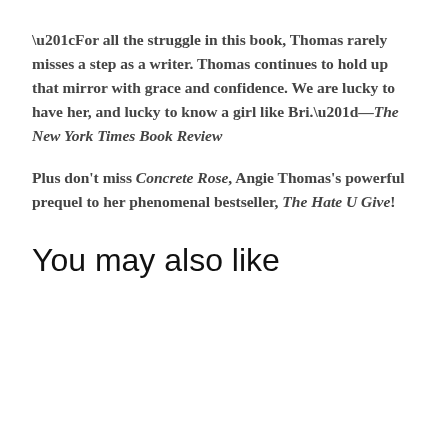“For all the struggle in this book, Thomas rarely misses a step as a writer. Thomas continues to hold up that mirror with grace and confidence. We are lucky to have her, and lucky to know a girl like Bri.”—The New York Times Book Review
Plus don't miss Concrete Rose, Angie Thomas's powerful prequel to her phenomenal bestseller, The Hate U Give!
You may also like